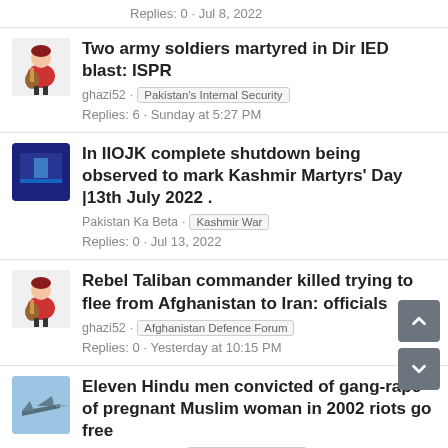Replies: 0 · Jul 8, 2022
Two army soldiers martyred in Dir IED blast: ISPR
ghazi52 · Pakistan's Internal Security
Replies: 6 · Sunday at 5:27 PM
In IIOJK complete shutdown being observed to mark Kashmir Martyrs' Day |13th July 2022 .
Pakistan Ka Beta · Kashmir War
Replies: 0 · Jul 13, 2022
Rebel Taliban commander killed trying to flee from Afghanistan to Iran: officials
ghazi52 · Afghanistan Defence Forum
Replies: 0 · Yesterday at 10:15 PM
Eleven Hindu men convicted of gang-rape of pregnant Muslim woman in 2002 riots go free
Pakistani Fighter · Central & South Asia
Replies: 43 · 4 minutes ago